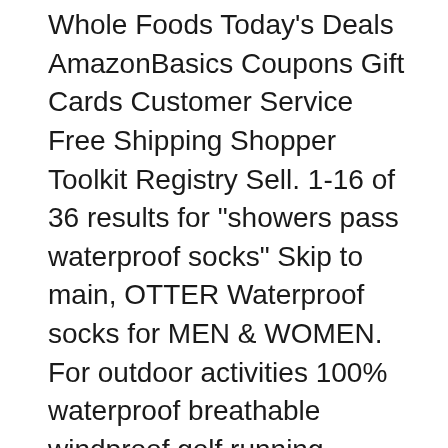Whole Foods Today's Deals AmazonBasics Coupons Gift Cards Customer Service Free Shipping Shopper Toolkit Registry Sell. 1-16 of 36 results for "showers pass waterproof socks" Skip to main, OTTER Waterproof socks for MEN & WOMEN. For outdoor activities 100% waterproof breathable windproof golf running cycling hiking walking. With COOLMAXB® CORE technology transports moisture away from the skin.
Amazon.com Customer reviews Showers Pass Crosspoint. Based in Portland, Oregon Showers Pass is made up of a select team of outdoor enthusiasts who bike, run, hike climb and play in the outdoors. In 1997 Showers Pass was born from the desire to develop clothing and gear that would get people out on their bikes no